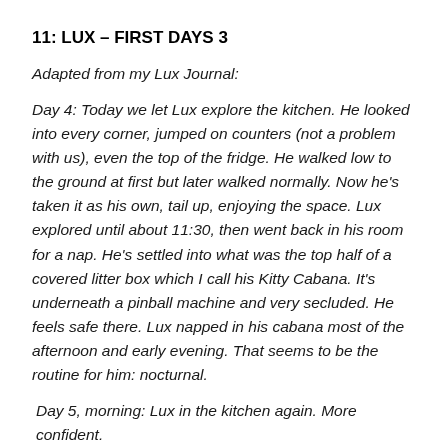11: LUX – FIRST DAYS 3
Adapted from my Lux Journal:
Day 4: Today we let Lux explore the kitchen. He looked into every corner, jumped on counters (not a problem with us), even the top of the fridge. He walked low to the ground at first but later walked normally. Now he's taken it as his own, tail up, enjoying the space. Lux explored until about 11:30, then went back in his room for a nap. He's settled into what was the top half of a covered litter box which I call his Kitty Cabana. It's underneath a pinball machine and very secluded. He feels safe there. Lux napped in his cabana most of the afternoon and early evening. That seems to be the routine for him: nocturnal.
Day 5, morning: Lux in the kitchen again. More confident.